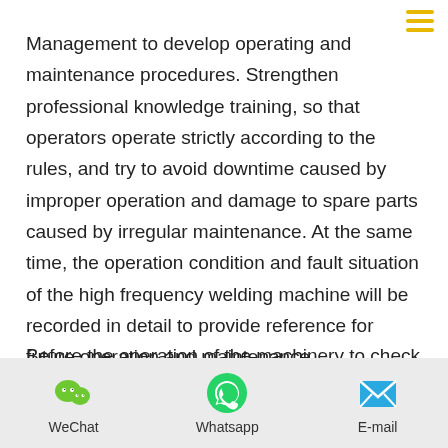Management to develop operating and maintenance procedures. Strengthen professional knowledge training, so that operators operate strictly according to the rules, and try to avoid downtime caused by improper operation and damage to spare parts caused by irregular maintenance. At the same time, the operation condition and fault situation of the high frequency welding machine will be recorded in detail to provide reference for future operation and maintenance.
Before the operation of the machinery to check whether the various parts of the machinery can work properly, there is no fault, only when the machine parts and indicators are normal, can start and put into production, otherwise it will cause great losses to the...
WeChat   Whatsapp   E-mail